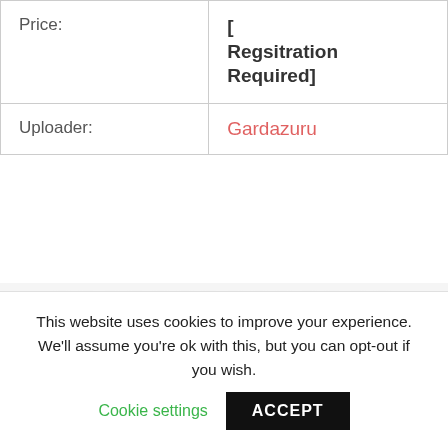| Price: | [Regsitration Required] |
| Uploader: | Gardazuru |
[Figure (other): Green download button with white text reading DOWNLOAD PDF and an arrow icon pointing right]
This website uses cookies to improve your experience. We'll assume you're ok with this, but you can opt-out if you wish.
Cookie settings
ACCEPT